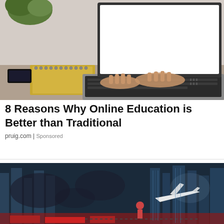[Figure (photo): Person typing on a laptop computer with a spiral notebook and plant in the background on a desk. The laptop screen is white/bright.]
8 Reasons Why Online Education is Better than Traditional
pruig.com | Sponsored
[Figure (photo): City skyline with world map overlay, skyscrapers and an airplane taking off, representing global travel or international commerce.]